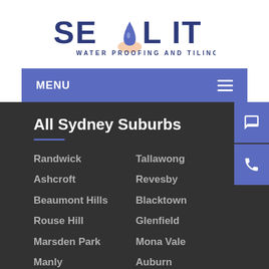[Figure (logo): SEAL IT Water Proofing and Tiling logo with water drop icon]
MENU
All Sydney Suburbs
Randwick
Tallawong
Ashcroft
Revesby
Beaumont Hills
Blacktown
Rouse Hill
Glenfield
Marsden Park
Mona Vale
Manly
Auburn
Hornsby
Wahroonga
Leppington